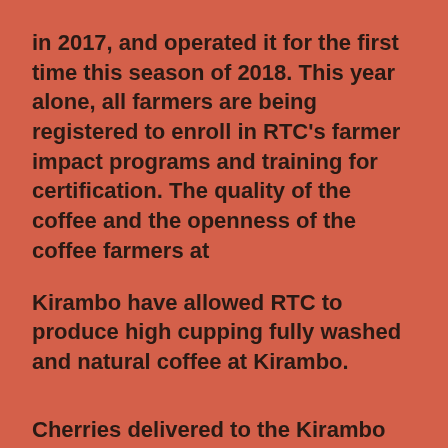in 2017, and operated it for the first time this season of 2018. This year alone, all farmers are being registered to enroll in RTC's farmer impact programs and training for certification. The quality of the coffee and the openness of the coffee farmers at
Kirambo have allowed RTC to produce high cupping fully washed and natural coffee at Kirambo.
Cherries delivered to the Kirambo station and then floated and separated to remove any defective cherries. The coffee is then placed on the raised